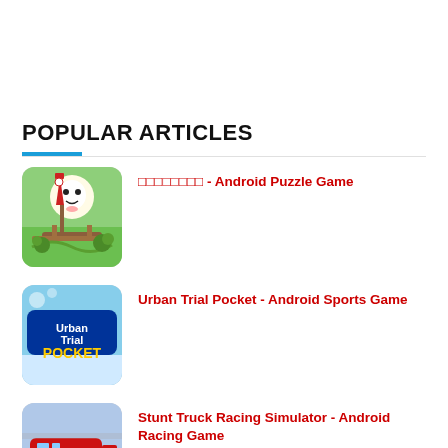POPULAR ARTICLES
□□□□□□□□ - Android Puzzle Game
Urban Trial Pocket - Android Sports Game
Stunt Truck Racing Simulator - Android Racing Game